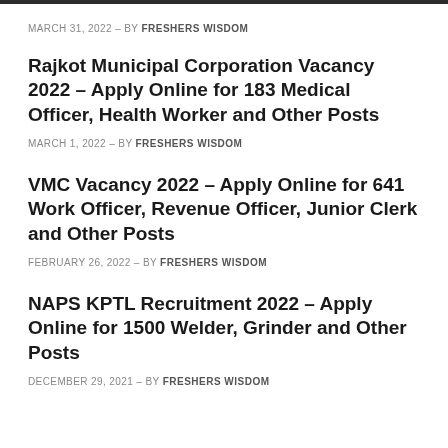MARCH 31, 2022 – BY FRESHERS WISDOM
Rajkot Municipal Corporation Vacancy 2022 – Apply Online for 183 Medical Officer, Health Worker and Other Posts
MARCH 1, 2022 – BY FRESHERS WISDOM
VMC Vacancy 2022 – Apply Online for 641 Work Officer, Revenue Officer, Junior Clerk and Other Posts
FEBRUARY 26, 2022 – BY FRESHERS WISDOM
NAPS KPTL Recruitment 2022 – Apply Online for 1500 Welder, Grinder and Other Posts
DECEMBER 29, 2021 – BY FRESHERS WISDOM